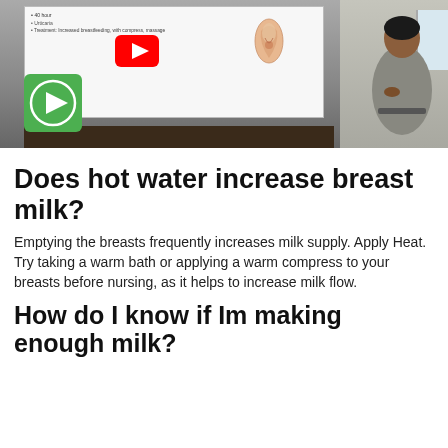[Figure (screenshot): Video thumbnail showing a presentation slide with breastfeeding information, a YouTube play button overlay, an anatomical image, and a presenter (woman in grey) standing to the right. A green circular play button icon is visible in the lower left of the thumbnail.]
Does hot water increase breast milk?
Emptying the breasts frequently increases milk supply. Apply Heat. Try taking a warm bath or applying a warm compress to your breasts before nursing, as it helps to increase milk flow.
How do I know if Im making enough milk?